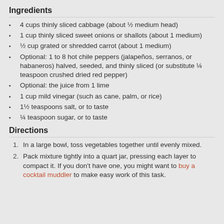Ingredients
4 cups thinly sliced cabbage (about ½ medium head)
1 cup thinly sliced sweet onions or shallots (about 1 medium)
½ cup grated or shredded carrot (about 1 medium)
Optional: 1 to 8 hot chile peppers (jalapeños, serranos, or habaneros) halved, seeded, and thinly sliced (or substitute ¼ teaspoon crushed dried red pepper)
Optional: the juice from 1 lime
1 cup mild vinegar (such as cane, palm, or rice)
1½ teaspoons salt, or to taste
¼ teaspoon sugar, or to taste
Directions
In a large bowl, toss vegetables together until evenly mixed.
Pack mixture tightly into a quart jar, pressing each layer to compact it. If you don't have one, you might want to buy a cocktail muddler to make easy work of this task.